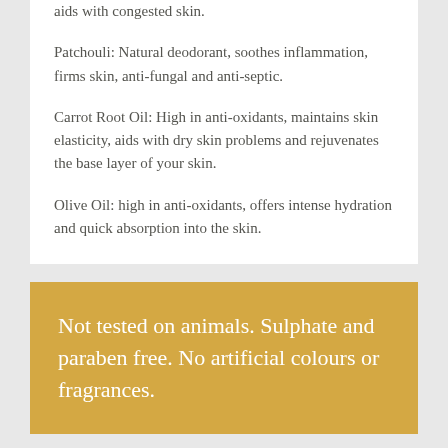aids with congested skin.
Patchouli: Natural deodorant, soothes inflammation, firms skin, anti-fungal and anti-septic.
Carrot Root Oil: High in anti-oxidants, maintains skin elasticity, aids with dry skin problems and rejuvenates the base layer of your skin.
Olive Oil: high in anti-oxidants, offers intense hydration and quick absorption into the skin.
Not tested on animals. Sulphate and paraben free. No artificial colours or fragrances.